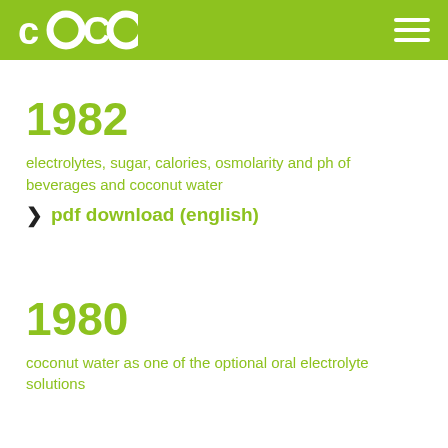coco [logo] [hamburger menu]
1982
electrolytes, sugar, calories, osmolarity and ph of beverages and coconut water
› pdf download (english)
1980
coconut water as one of the optional oral electrolyte solutions